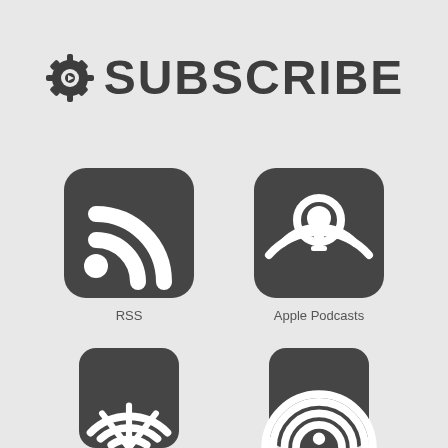✳ SUBSCRIBE
[Figure (logo): RSS feed icon — rounded square dark gray background with white RSS signal arcs and dot]
RSS
[Figure (logo): Apple Podcasts icon — rounded square dark gray background with white podcast microphone and signal arcs]
Apple Podcasts
[Figure (logo): Partially visible podcast/radio icon — dark gray semicircle with white signal arcs (bottom cut off)]
[Figure (logo): Partially visible podcast/radio icon — dark gray semicircle with white signal arcs (bottom cut off)]